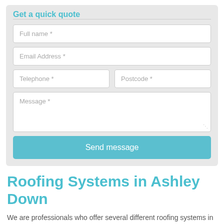Get a quick quote
Full name *
Email Address *
Telephone *
Postcode *
Message *
Send message
Roofing Systems in Ashley Down
We are professionals who offer several different roofing systems in